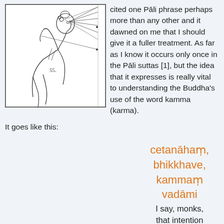[Figure (illustration): A black and white line drawing of a person in profile, appearing to be a historical anatomical or philosophical illustration showing a figure with lines radiating from the eye/head area, possibly depicting vision or perception. The figure is seated and holding something. Number '55.' is visible in the lower middle of the illustration.]
cited one Pāli phrase perhaps more than any other and it dawned on me that I should give it a fuller treatment. As far as I know it occurs only once in the Pāli suttas [1], but the idea that it expresses is really vital to understanding the Buddha's use of the word kamma (karma).
It goes like this:
cetanāhaṃ, bhikkhave, kammaṃ vadāmi
I say, monks, that intention is action [2]